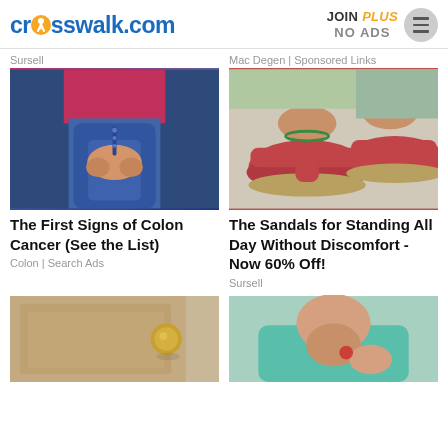crosswalk.com | JOIN PLUS NO ADS
Sursell
Mac Degen | Sponsored Links
[Figure (photo): Woman in pink top and jeans holding her lower abdomen/hip area]
[Figure (photo): Close-up of red/pink platform sandals worn on feet with anklet]
The First Signs of Colon Cancer (See the List)
The Sandals for Standing All Day Without Discomfort - Now 60% Off!
Colon | Search Ads
Sursell
[Figure (photo): Close-up of a door handle/lock on a wooden door]
[Figure (photo): Woman in teal/mint top touching her neck/chest area]